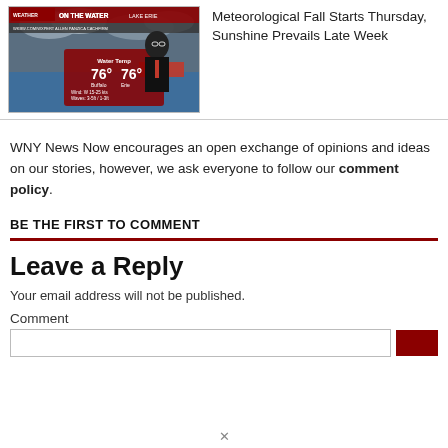[Figure (screenshot): Weather broadcast thumbnail showing a meteorologist in front of Lake Erie water temperature graphic with 76° readings, wind and wave info.]
Meteorological Fall Starts Thursday, Sunshine Prevails Late Week
WNY News Now encourages an open exchange of opinions and ideas on our stories, however, we ask everyone to follow our comment policy.
BE THE FIRST TO COMMENT
Leave a Reply
Your email address will not be published.
Comment